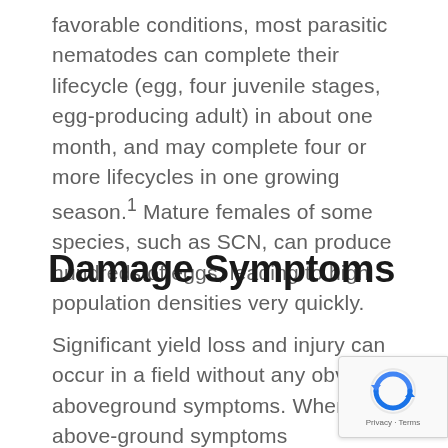favorable conditions, most parasitic nematodes can complete their lifecycle (egg, four juvenile stages, egg-producing adult) in about one month, and may complete four or more lifecycles in one growing season.¹ Mature females of some species, such as SCN, can produce hundreds of eggs, leading to high population densities very quickly.
Damage Symptoms
Significant yield loss and injury can occur in a field without any obvious aboveground symptoms. When above-ground symptoms